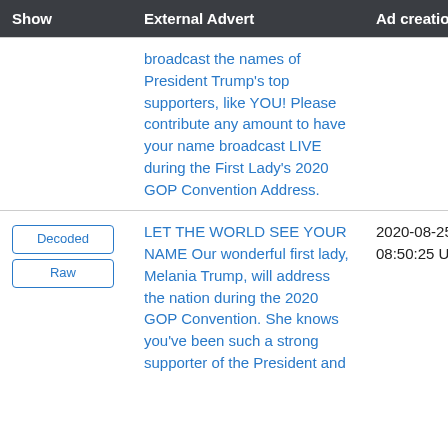| Show | External Advert | Ad creation time |
| --- | --- | --- |
|  | broadcast the names of President Trump's top supporters, like YOU! Please contribute any amount to have your name broadcast LIVE during the First Lady's 2020 GOP Convention Address. |  |
| Decoded
Raw | LET THE WORLD SEE YOUR NAME Our wonderful first lady, Melania Trump, will address the nation during the 2020 GOP Convention. She knows you've been such a strong supporter of the President and | 2020-08-25 08:50:25 UTC |